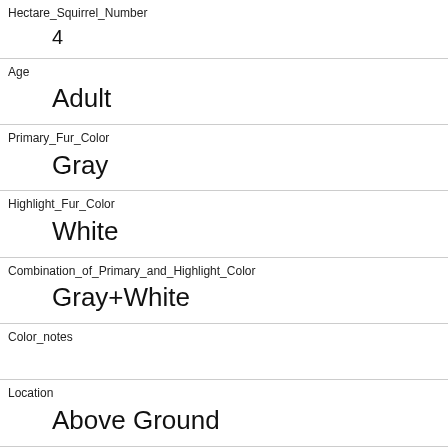| Field | Value |
| --- | --- |
| Hectare_Squirrel_Number | 4 |
| Age | Adult |
| Primary_Fur_Color | Gray |
| Highlight_Fur_Color | White |
| Combination_of_Primary_and_Highlight_Color | Gray+White |
| Color_notes |  |
| Location | Above Ground |
| Above_Ground_Sighter_Measurement | 65.0 |
| Specific_Location |  |
| Running | 0 |